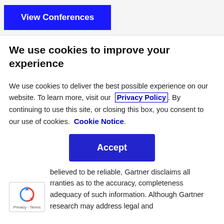View Conferences
We use cookies to improve your experience
We use cookies to deliver the best possible experience on our website. To learn more, visit our  Privacy Policy . By continuing to use this site, or closing this box, you consent to our use of cookies.  Cookie Notice .
Accept
believed to be reliable, Gartner disclaims all rranties as to the accuracy, completeness adequacy of such information. Although Gartner research may address legal and